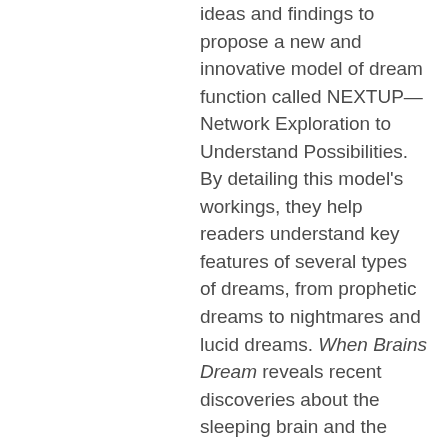ideas and findings to propose a new and innovative model of dream function called NEXTUP—Network Exploration to Understand Possibilities. By detailing this model's workings, they help readers understand key features of several types of dreams, from prophetic dreams to nightmares and lucid dreams. When Brains Dream reveals recent discoveries about the sleeping brain and the many ways in which dreams are psychologically, and neurologically, meaningful experiences; explores a host of dream-related disorders; and explains how dreams can facilitate creativity and be a source of personal insight.
Making an eloquent and engaging case for why the human brain needs to dream, When Brains Dream offers compelling